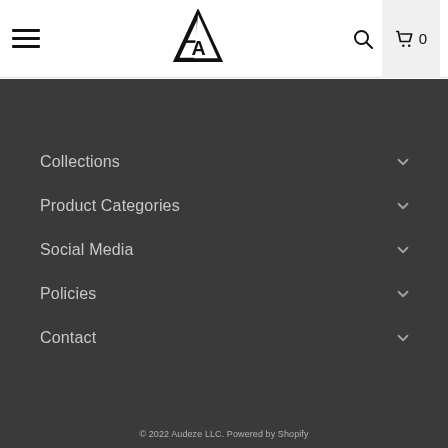Audeze navigation header with hamburger menu, logo, search icon, and cart (0)
Collections
Product Categories
Social Media
Policies
Contact
© 2022 Audeze LLC. Powered by Shopify